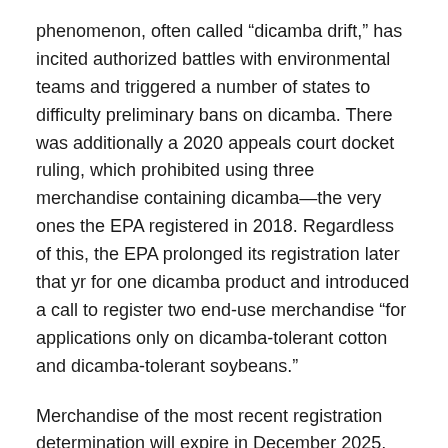phenomenon, often called “dicamba drift,” has incited authorized battles with environmental teams and triggered a number of states to difficulty preliminary bans on dicamba. There was additionally a 2020 appeals court docket ruling, which prohibited using three merchandise containing dicamba—the very ones the EPA registered in 2018. Regardless of this, the EPA prolonged its registration later that yr for one dicamba product and introduced a call to register two end-use merchandise “for applications only on dicamba-tolerant cotton and dicamba-tolerant soybeans.”
Merchandise of the most recent registration determination will expire in December 2025, until EPA decides to amend. Though it isn't clear what the brand new report means for the way forward for dicamba, it outlines three suggestions for corrective motion. This features a proposal that might require senior managers, who make modifications to scientific paperwork,